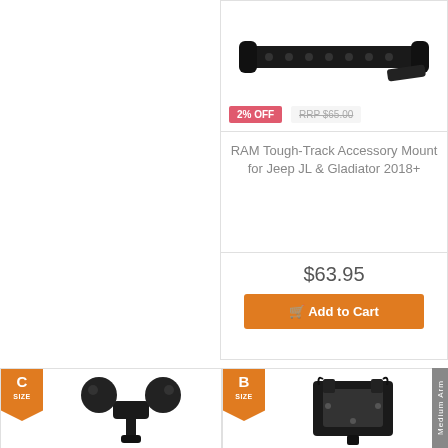[Figure (photo): RAM Tough-Track rail mount accessory, black hardware]
2% OFF
RRP $65.00
RAM Tough-Track Accessory Mount for Jeep JL & Gladiator 2018+
$63.95
Add to Cart
[Figure (photo): C size RAM ball mount double socket arm, black]
[Figure (photo): B size RAM device cradle mount, Medium Arm, black]